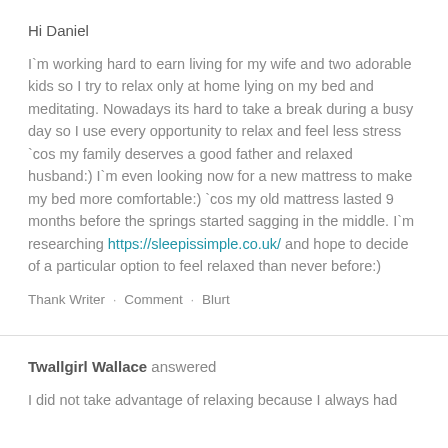Hi Daniel
I`m working hard to earn living for my wife and two adorable kids so I try to relax only at home lying on my bed and meditating. Nowadays its hard to take a break during a busy day so I use every opportunity to relax and feel less stress `cos my family deserves a good father and relaxed husband:) I`m even looking now for a new mattress to make my bed more comfortable:) `cos my old mattress lasted 9 months before the springs started sagging in the middle. I`m researching https://sleepissimple.co.uk/ and hope to decide of a particular option to feel relaxed than never before:)
Thank Writer · Comment · Blurt
Twallgirl Wallace answered
I did not take advantage of relaxing because I always had